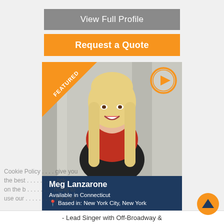View Full Profile
Request a Quote
[Figure (photo): Profile photo of Meg Lanzarone, a woman with long blonde wavy hair wearing a red top, with a FEATURED orange diagonal banner in top-left corner and an orange play button circle in top-right corner]
Meg Lanzarone
Available in Connecticut
Based in: New York City, New York
★★★★★ (2 Reviews)
From: $300
Virtual Service Available
- Lead Singer with Off-Broadway &